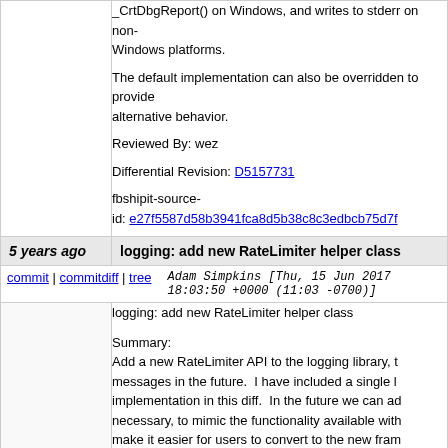_CrtDbgReport() on Windows, and writes to stderr on non-Windows platforms.
The default implementation can also be overridden to provide alternative behavior.

Reviewed By: wez

Differential Revision: D5157731

fbshipit-source-id: e27f5587d58b3941fca8d5b38c8c3edbcb75d7f...
5 years ago
logging: add new RateLimiter helper class
commit | commitdiff | tree   Adam Simpkins [Thu, 15 Jun 2017 18:03:50 +0000 (11:03 -0700)]
logging: add new RateLimiter helper class

Summary:
Add a new RateLimiter API to the logging library, to rate limit log messages in the future. I have included a single l... implementation in this diff. In the future we can ad... necessary, to mimic the functionality available with... make it easier for users to convert to the new fram...

Note that RateLimiter is inside a `folly::logging` na... the other code in the logging library that lives direc... namespace. I intentionally chose this since RateL... class name, and I wanted to distinguish it from oth...